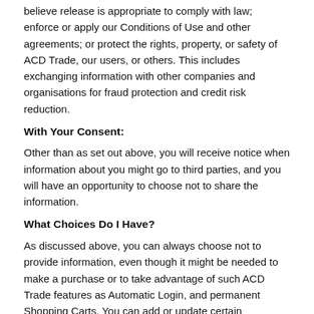believe release is appropriate to comply with law; enforce or apply our Conditions of Use and other agreements; or protect the rights, property, or safety of ACD Trade, our users, or others. This includes exchanging information with other companies and organisations for fraud protection and credit risk reduction.
With Your Consent:
Other than as set out above, you will receive notice when information about you might go to third parties, and you will have an opportunity to choose not to share the information.
What Choices Do I Have?
As discussed above, you can always choose not to provide information, even though it might be needed to make a purchase or to take advantage of such ACD Trade features as Automatic Login, and permanent Shopping Carts. You can add or update certain information on pages such as those listed in the My Account pages. When you update information, we usually keep a copy of the prior version for our records. If you do not want to receive e-mail or other mail from us, please adjust your account to reflect this in the Newsletter menu.
Children